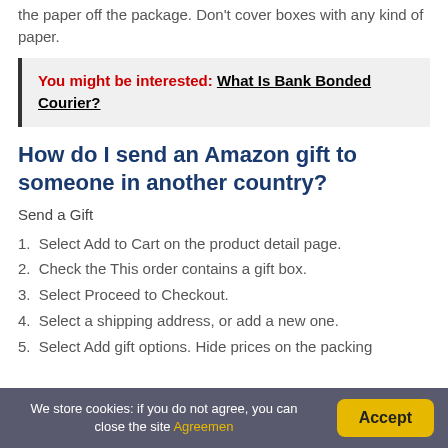the paper off the package. Don't cover boxes with any kind of paper.
You might be interested: What Is Bank Bonded Courier?
How do I send an Amazon gift to someone in another country?
Send a Gift
1. Select Add to Cart on the product detail page.
2. Check the This order contains a gift box.
3. Select Proceed to Checkout.
4. Select a shipping address, or add a new one.
5. Select Add gift options. Hide prices on the packing
We store cookies: if you do not agree, you can close the site Agreement